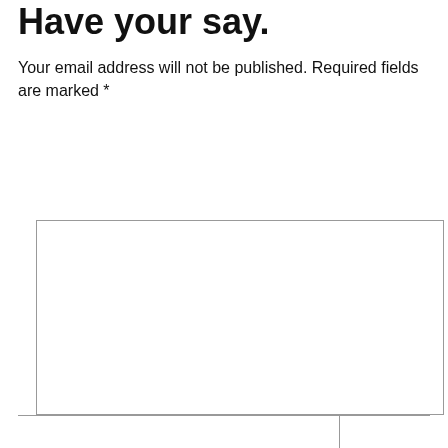Have your say.
Your email address will not be published. Required fields are marked *
[Figure (other): Empty comment text area input box with border]
We use cookies to make your website experience better. By accepting this notice and continuing to browse our website you confirm you accept our Terms of Use & Privacy Policy. read more >> I Accept